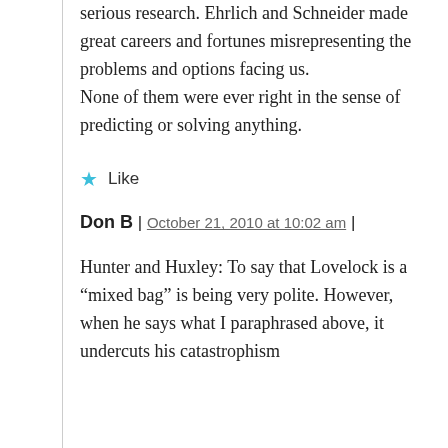serious research. Ehrlich and Schneider made great careers and fortunes misrepresenting the problems and options facing us.
None of them were ever right in the sense of predicting or solving anything.
Like
Don B | October 21, 2010 at 10:02 am |
Hunter and Huxley: To say that Lovelock is a “mixed bag” is being very polite. However, when he says what I paraphrased above, it undercuts his catastrophism